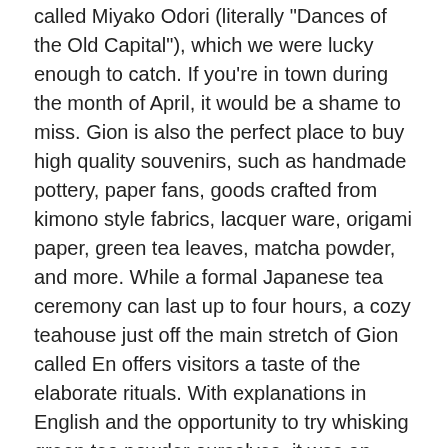called Miyako Odori (literally "Dances of the Old Capital"), which we were lucky enough to catch. If you're in town during the month of April, it would be a shame to miss. Gion is also the perfect place to buy high quality souvenirs, such as handmade pottery, paper fans, goods crafted from kimono style fabrics, lacquer ware, origami paper, green tea leaves, matcha powder, and more. While a formal Japanese tea ceremony can last up to four hours, a cozy teahouse just off the main stretch of Gion called En offers visitors a taste of the elaborate rituals. With explanations in English and the opportunity to try whisking green tea powder ourselves, it was an informative yet calming experience for everyone.
Kyoto's geographic location and Japan's comprehensive train system make it easy to incorporate several day trips into any itinerary. Osaka, Nara, Kobe, and Himeji are all less than an hour on the JR Line and each offers something different: delicious food and energetic nightlife in Osaka, a meandering deer preserve with friendly deer in Nara, the...